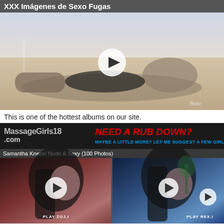XXX Imágenes de Sexo Fugas
[Figure (photo): Blonde woman in black swimsuit lying on sand, with play button overlay]
This is one of the hottest albums on our site.
[Figure (screenshot): Advertisement banner: MassageGirls18.com - NEED A RUB DOWN? MAYBE A LITTLE MORE? LET ME SUGGEST A FEW GIRLS!]
[Figure (photo): Section header: Samantha Knezel Nude & Sexy (100 Photos). Two thumbnail images of dark-haired women with play button overlays. Labels: PLAY ZOJ.I and PLAY REX.I]